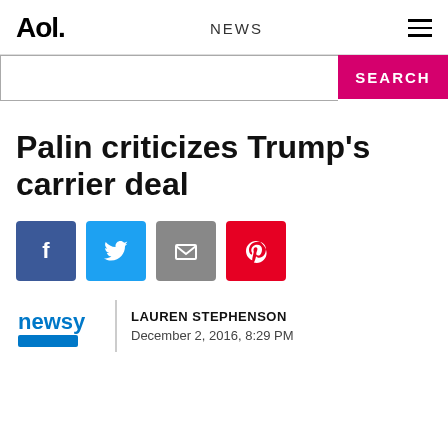Aol. NEWS
Palin criticizes Trump's carrier deal
[Figure (infographic): Social share buttons: Facebook, Twitter, Email, Pinterest]
LAUREN STEPHENSON
December 2, 2016, 8:29 PM